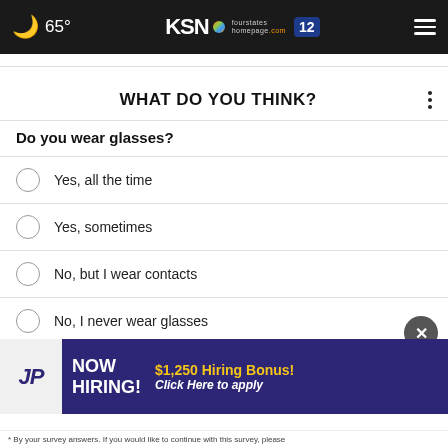🌙 65° KSN fourstates homepage.com 12
WHAT DO YOU THINK?
Do you wear glasses?
Yes, all the time
Yes, sometimes
No, but I wear contacts
No, I never wear glasses
Does not apply
[Figure (other): Advertisement banner: JP logo, NOW HIRING!, $1,250 Hiring Bonus! Click Here to apply]
* By your survey answers. If you would like to continue with this survey, please